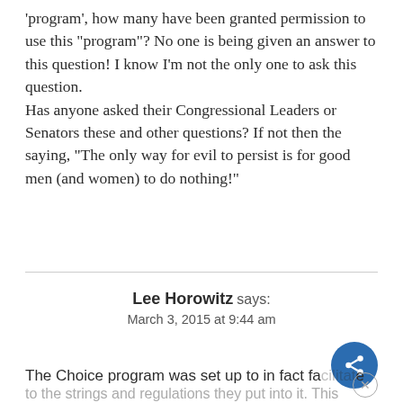'program', how many have been granted permission to use this "program"? No one is being given an answer to this question! I know I'm not the only one to ask this question.
Has anyone asked their Congressional Leaders or Senators these and other questions? If not then the saying, "The only way for evil to persist is for good men (and women) to do nothing!"
Lee Horowitz says:
March 3, 2015 at 9:44 am
The Choice program was set up to in fact fa... to the strings and regulations they put into it. This was told to me secretly by the policy/legislative